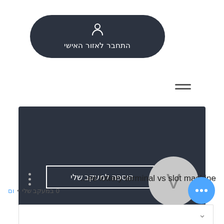[Figure (screenshot): Dark rounded button with person/user icon above Hebrew text 'התחבר לאזור האישי' (Connect to personal area)]
[Figure (illustration): Hamburger menu icon (three horizontal lines)]
[Figure (screenshot): Dark card UI element with three vertical dots, a bordered button with Hebrew text 'הוספה למעקב שלי' (Add to my watchlist), and a circular avatar with letter V]
...eo lottery terminal vs slot machine
0 במעקב שלי • ום
[Figure (illustration): Blue circular FAB button with three white dots]
[Figure (illustration): Bottom bar with chevron down arrow]